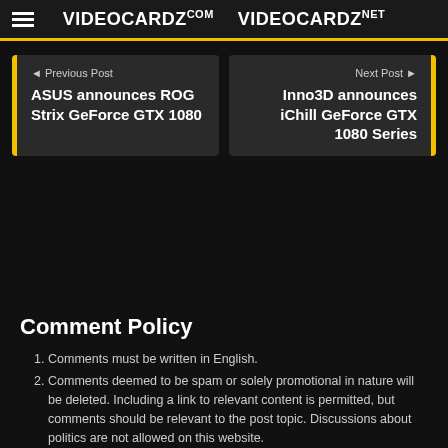VIDEOCARDZ.COM  VIDEOCARDZ.NET
◄ Previous Post
ASUS announces ROG Strix GeForce GTX 1080
Next Post ►
Inno3D announces iChill GeForce GTX 1080 Series
Comment Policy
Comments must be written in English.
Comments deemed to be spam or solely promotional in nature will be deleted. Including a link to relevant content is permitted, but comments should be relevant to the post topic. Discussions about politics are not allowed on this website.
Comments and usernames containing language or concepts that could be deemed offensive will be deleted. Note this may include abusive, threatening, pornographic, offensive, misleading, or libelous language.